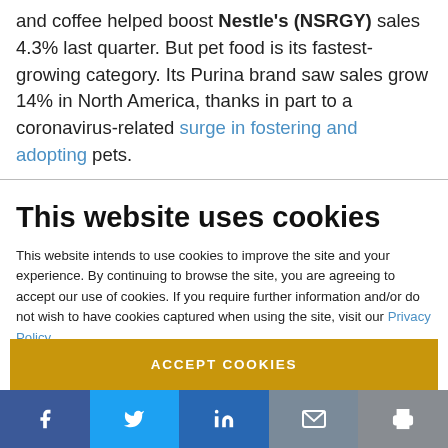and coffee helped boost Nestle's (NSRGY) sales 4.3% last quarter. But pet food is its fastest-growing category. Its Purina brand saw sales grow 14% in North America, thanks in part to a coronavirus-related surge in fostering and adopting pets.
This website uses cookies
This website intends to use cookies to improve the site and your experience. By continuing to browse the site, you are agreeing to accept our use of cookies. If you require further information and/or do not wish to have cookies captured when using the site, visit our Privacy Policy.
ACCEPT COOKIES